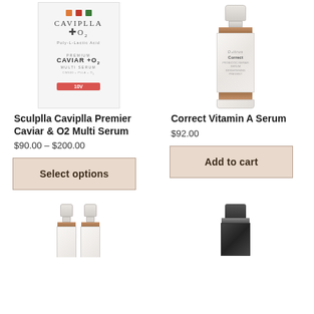[Figure (photo): Sculplla Caviplla Premier Caviar & O2 Multi Serum product box. White box with orange, red, and green squares, CAVIPLLA +O2 branding, Poly-L-Lactic Acid, PREMIUM CAVIAR +O2 MULTI SERUM, 10V badge in red.]
[Figure (photo): Correct Vitamin A Serum bottle. White and rose-gold pump bottle with minimalist label.]
Sculplla Caviplla Premier Caviar & O2 Multi Serum
$90.00 – $200.00
Correct Vitamin A Serum
$92.00
Select options
Add to cart
[Figure (photo): Two partial serum bottles visible from bottom of page, rose-gold banded white bottles.]
[Figure (photo): Partial dark/black bottle visible from bottom of page.]